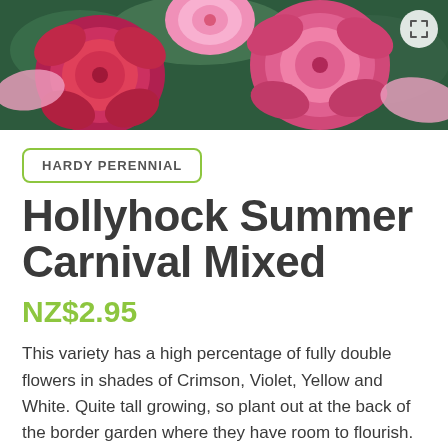[Figure (photo): Close-up photo of pink and crimson hollyhock flowers with green foliage, with a circular expand/fullscreen button in the top right corner]
HARDY PERENNIAL
Hollyhock Summer Carnival Mixed
NZ$2.95
This variety has a high percentage of fully double flowers in shades of Crimson, Violet, Yellow and White. Quite tall growing, so plant out at the back of the border garden where they have room to flourish. Hollyhocks can